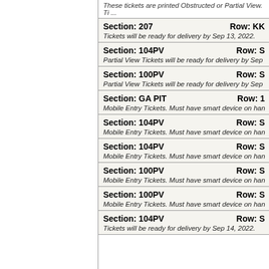These tickets are printed Obstructed or Partial View. Ti ...
Section: 207 | Row: KK | Tickets will be ready for delivery by Sep 13, 2022.
Section: 104PV | Row: S | Partial View Tickets will be ready for delivery by Sep 1 ...
Section: 100PV | Row: S | Partial View Tickets will be ready for delivery by Sep 1 ...
Section: GA PIT | Row: 1 | Mobile Entry Tickets. Must have smart device on hand to e
Section: 104PV | Row: S | Mobile Entry Tickets. Must have smart device on hand to e
Section: 104PV | Row: S | Mobile Entry Tickets. Must have smart device on hand to e
Section: 100PV | Row: S | Mobile Entry Tickets. Must have smart device on hand to e
Section: 100PV | Row: S | Mobile Entry Tickets. Must have smart device on hand to e
Section: 104PV | Row: S | Tickets will be ready for delivery by Sep 14, 2022.